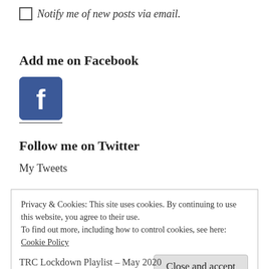Notify me of new posts via email.
Add me on Facebook
[Figure (logo): Facebook logo icon — blue rounded square with white 'f' letter]
Follow me on Twitter
My Tweets
Privacy & Cookies: This site uses cookies. By continuing to use this website, you agree to their use.
To find out more, including how to control cookies, see here: Cookie Policy
Close and accept
TRC Lockdown Playlist – May 2020